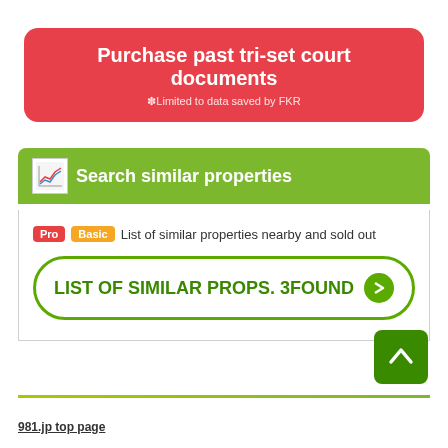Purchase past tri-set court documents
*Limited to data saved by FKR
Search similar properties
List of similar properties nearby and sold out
LIST OF SIMILAR PROPS. 3FOUND
981.jp top page